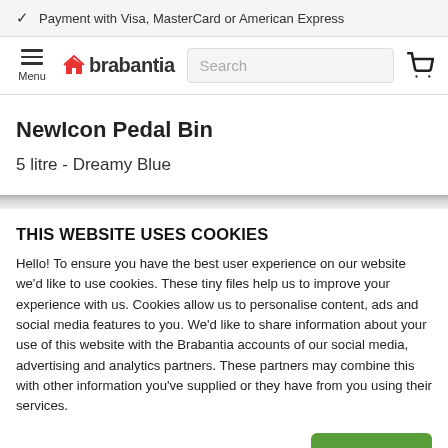✓ Payment with Visa, MasterCard or American Express
Menu | brabantia | Search | cart
NewIcon Pedal Bin
5 litre - Dreamy Blue
THIS WEBSITE USES COOKIES
Hello! To ensure you have the best user experience on our website we'd like to use cookies. These tiny files help us to improve your experience with us. Cookies allow us to personalise content, ads and social media features to you. We'd like to share information about your use of this website with the Brabantia accounts of our social media, advertising and analytics partners. These partners may combine this with other information you've supplied or they have from you using their services.
Settings ˅   Accept